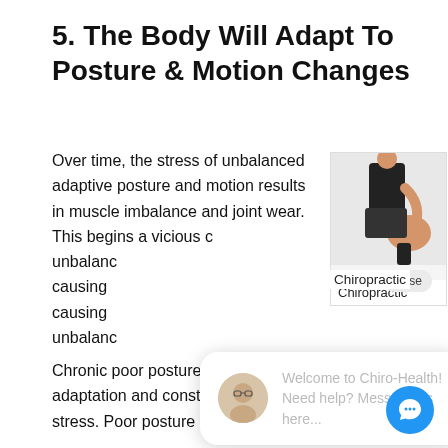5. The Body Will Adapt To Posture & Motion Changes
Over time, the stress of unbalanced adaptive posture and motion results in muscle imbalance and joint wear. This begins a vicious cycle of unbalanced motion causing more wear, causing more imbalance
[Figure (photo): Person holding their knee, chiropractic-related image]
[Figure (screenshot): Chat widget: Welcome to Chiro-Health! Need help? Message us here...]
Chronic poor posture results in posture adaptation and constant muscle and joint stress. Poor posture and excessive